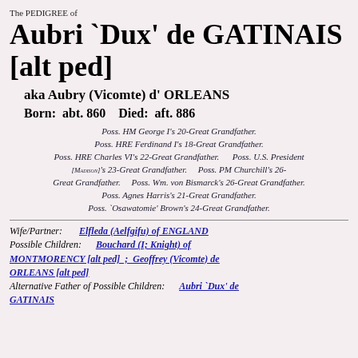The PEDIGREE of
Aubri `Dux' de GATINAIS [alt ped]
aka Aubry (Vicomte) d' ORLEANS
Born: abt. 860    Died: aft. 886
Poss. HM George I's 20-Great Grandfather. Poss. HRE Ferdinand I's 18-Great Grandfather. Poss. HRE Charles VI's 22-Great Grandfather. Poss. U.S. President [MADISON]'s 23-Great Grandfather. Poss. PM Churchill's 26-Great Grandfather. Poss. Wm. von Bismarck's 26-Great Grandfather. Poss. Agnes Harris's 21-Great Grandfather. Poss. `Osawatomie' Brown's 24-Great Grandfather.
Wife/Partner: Elfleda (Aelfgifu) of ENGLAND
Possible Children: Bouchard (I; Knight) of MONTMORENCY [alt ped] ; Geoffrey (Vicomte) de ORLEANS [alt ped]
Alternative Father of Possible Children: Aubri `Dux' de GATINAIS